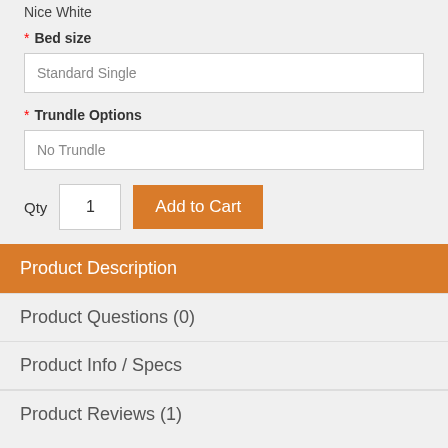Nice White
* Bed size
Standard Single
* Trundle Options
No Trundle
Qty  1  Add to Cart
Product Description
Product Questions (0)
Product Info / Specs
Product Reviews (1)